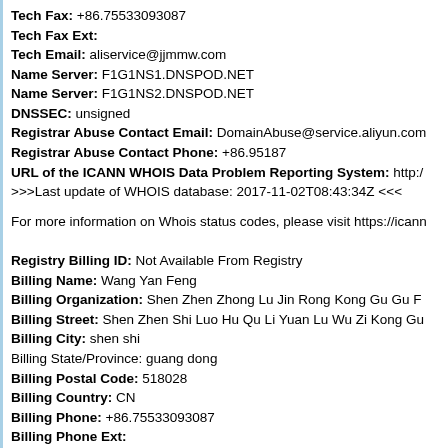Tech Fax: +86.75533093087
Tech Fax Ext:
Tech Email: aliservice@jjmmw.com
Name Server: F1G1NS1.DNSPOD.NET
Name Server: F1G1NS2.DNSPOD.NET
DNSSEC: unsigned
Registrar Abuse Contact Email: DomainAbuse@service.aliyun.com
Registrar Abuse Contact Phone: +86.95187
URL of the ICANN WHOIS Data Problem Reporting System: http://
>>>Last update of WHOIS database: 2017-11-02T08:43:34Z <<<
For more information on Whois status codes, please visit https://icann
Registry Billing ID: Not Available From Registry
Billing Name: Wang Yan Feng
Billing Organization: Shen Zhen Zhong Lu Jin Rong Kong Gu Gu F
Billing Street: Shen Zhen Shi Luo Hu Qu Li Yuan Lu Wu Zi Kong Gu
Billing City: shen shi
Billing State/Province: guang dong
Billing Postal Code: 518028
Billing Country: CN
Billing Phone: +86.75533093087
Billing Phone Ext:
Billing Fax: +86.75533093087
Billing Fax Ext:
Billing Email: aliservice@jjmmw.com